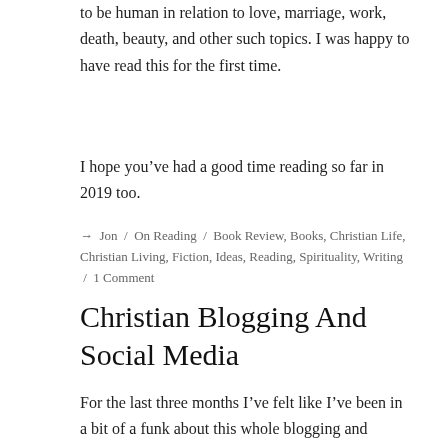to be human in relation to love, marriage, work, death, beauty, and other such topics. I was happy to have read this for the first time.
I hope you’ve had a good time reading so far in 2019 too.
→ Jon / On Reading / Book Review, Books, Christian Life, Christian Living, Fiction, Ideas, Reading, Spirituality, Writing / 1 Comment
Christian Blogging And Social Media
For the last three months I’ve felt like I’ve been in a bit of a funk about this whole blogging and writing thing. And it’s not really the writing itself, it’s more about the way in which